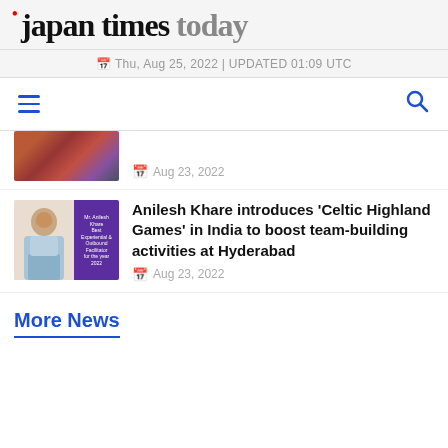japan times today
Thu, Aug 25, 2022 | UPDATED 01:09 UTC
[Figure (screenshot): Navigation bar with hamburger menu icon and search icon]
[Figure (photo): Partial thumbnail of flowers/decorative image]
Aug 23, 2022
[Figure (photo): Thumbnail showing man in light blue vest beside purple award card reading: Mr. Anilesh Khare Best Experiential & Outbound Facilitator for the year 2022]
Anilesh Khare introduces 'Celtic Highland Games' in India to boost team-building activities at Hyderabad
Aug 23, 2022
More News